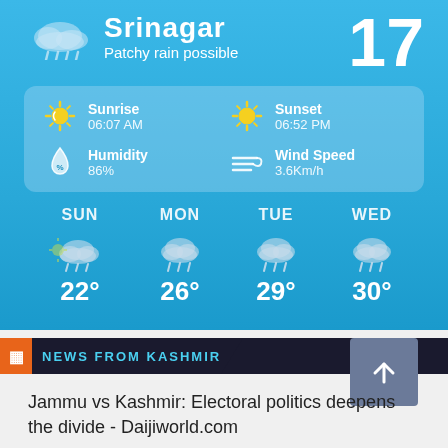Srinagar
Patchy rain possible
17
|  | Label | Value |
| --- | --- | --- |
| Sunrise icon | Sunrise | 06:07 AM |
| Sunset icon | Sunset | 06:52 PM |
| Humidity icon | Humidity | 86% |
| Wind icon | Wind Speed | 3.6Km/h |
[Figure (infographic): 4-day weather forecast showing SUN 22°, MON 26°, TUE 29°, WED 30° with rain cloud icons]
NEWS FROM KASHMIR
Jammu vs Kashmir: Electoral politics deepens the divide - Daijiworld.com